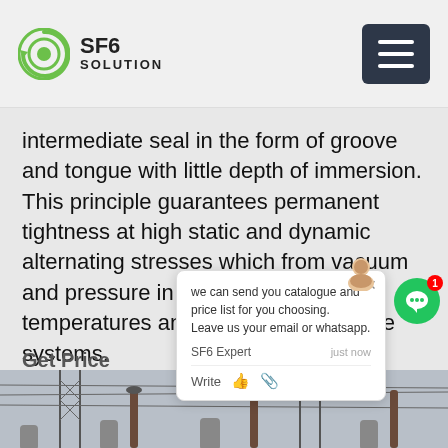SF6 SOLUTION
intermediate seal in the form of groove and tongue with little depth of immersion. This principle guarantees permanent tightness at high static and dynamic alternating stresses which from vacuum and pressure in connection with temperatures and vibrations inside the systems.
Get Price
[Figure (screenshot): Chat popup widget showing message: 'we can send you catalogue and price list for you choosing. Leave us your email or whatsapp.' with SF6 Expert avatar and justnow timestamp, Write field with thumbs up and attachment icons. Green chat bubble icon with red badge showing 1.]
[Figure (photo): Photo of electrical substation with large SF6 circuit breakers and high-voltage transmission line towers in background, grey sky.]